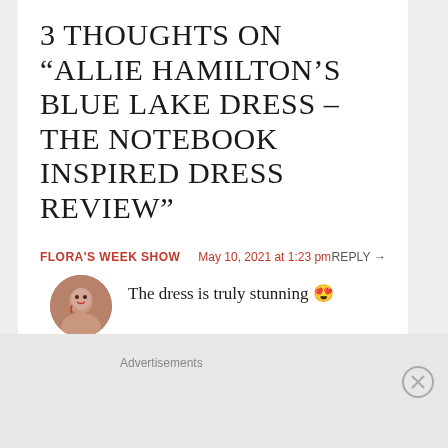3 THOUGHTS ON “ALLIE HAMILTON’S BLUE LAKE DRESS – THE NOTEBOOK INSPIRED DRESS REVIEW”
FLORA'S WEEK SHOW   May 10, 2021 at 1:23 pm   REPLY →
The dress is truly stunning 😍
★ Like
GABI   October 12, 2021 at 8:58 pm   REPLY →
Advertisements